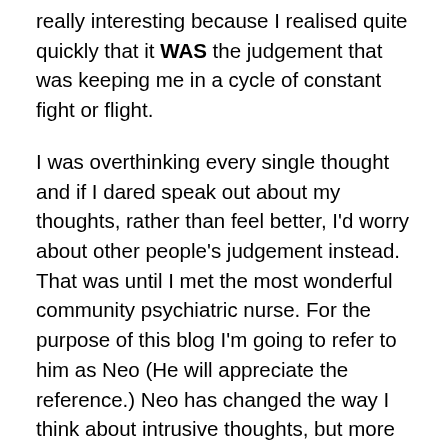really interesting because I realised quite quickly that it WAS the judgement that was keeping me in a cycle of constant fight or flight.
I was overthinking every single thought and if I dared speak out about my thoughts, rather than feel better, I'd worry about other people's judgement instead. That was until I met the most wonderful community psychiatric nurse. For the purpose of this blog I'm going to refer to him as Neo (He will appreciate the reference.) Neo has changed the way I think about intrusive thoughts, but more importantly the way I feel toward opening up about them.